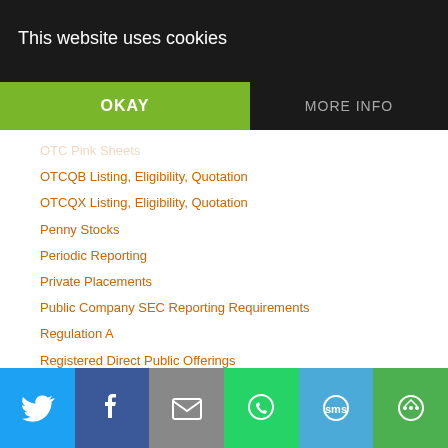This website uses cookies
OTC Pink Sheets
OTCQB Listing, Eligibility, Quotation
OTCQX Listing, Eligibility, Quotation
Penny Stocks
Periodic Reporting
Private Placements
Public Company SEC Reporting Requirements
Regulation A
Registered Direct Public Offerings
Regulation A
Regulation A State Blue Sky Requirements
Regulation A Offering Caps
Regulation A Form 1-A Disclosures
Regulation A SEC Reporting Requirements
Regulation A Secondary Sales
Regulation A State Blue Sky Requirements
Regulation A Tier 2 Direct Listing
Regulation A Testing the Waters
Regulation A Q&A